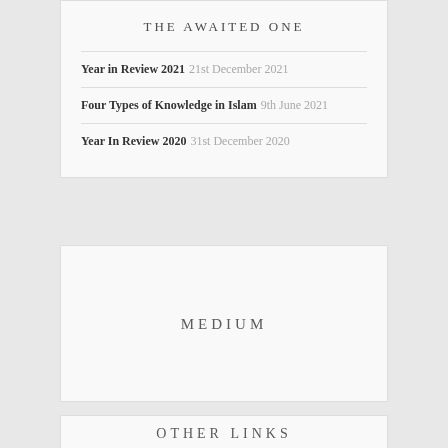THE AWAITED ONE
Year in Review 2021  21st December 2021
Four Types of Knowledge in Islam  9th June 2021
Year In Review 2020  31st December 2020
MEDIUM
OTHER LINKS